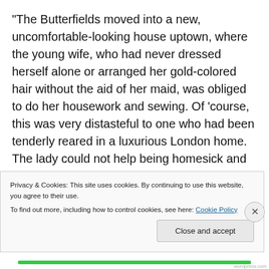“The Butterfields moved into a new, uncomfortable-looking house uptown, where the young wife, who had never dressed herself alone or arranged her gold-colored hair without the aid of her maid, was obliged to do her housework and sewing. Of ‘course, this was very distasteful to one who had been tenderly reared in a luxurious London home. The lady could not help being homesick and unhappy. It is said that she made many mistakes in the culinary department—that her husband was harsh and cruelly impatient with his young, inexperienced wife. Poor thing! He even denied her many
Privacy & Cookies: This site uses cookies. By continuing to use this website, you agree to their use.
To find out more, including how to control cookies, see here: Cookie Policy
Close and accept